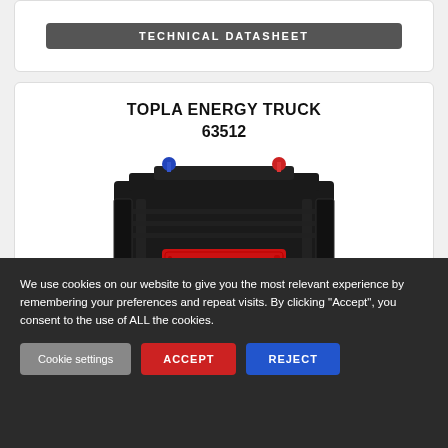TECHNICAL DATASHEET
TOPLA ENERGY TRUCK
63512
[Figure (photo): Photo of a Topla Energy Truck automotive battery (model 63512), a large black rectangular battery with blue and red terminals on top and a red Topla brand label on the front.]
We use cookies on our website to give you the most relevant experience by remembering your preferences and repeat visits. By clicking “Accept”, you consent to the use of ALL the cookies.